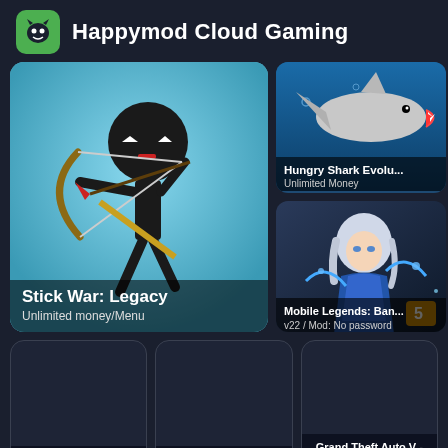Happymod Cloud Gaming
[Figure (screenshot): Stick War: Legacy game thumbnail showing a black stick figure archer character on blue background. Label: Unlimited money/Menu]
[Figure (screenshot): Hungry Shark Evolution game thumbnail showing a shark underwater. Label: Unlimited Money]
[Figure (screenshot): Mobile Legends: Bang Bang game thumbnail showing a female warrior character. Label: v22 / Mod: No password]
[Figure (screenshot): FIFA Soccer game thumbnail - dark empty card]
[Figure (screenshot): eFootball PES 2021 game thumbnail - dark empty card]
[Figure (screenshot): Grand Theft Auto V - Prologue game thumbnail - dark empty card]
Explore    My Game